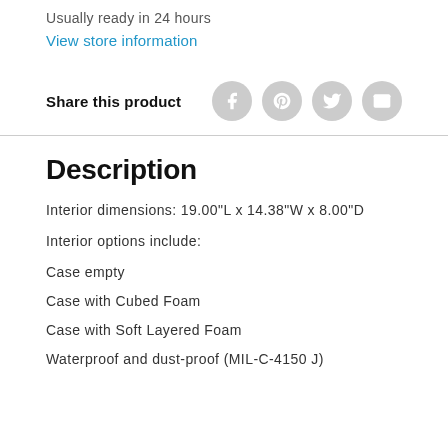Usually ready in 24 hours
View store information
Share this product
[Figure (other): Social share icons: Facebook, Pinterest, Twitter, Email]
Description
Interior dimensions: 19.00"L x 14.38"W x 8.00"D
Interior options include:
Case empty
Case with Cubed Foam
Case with Soft Layered Foam
Waterproof and dust-proof (MIL-C-4150 J)